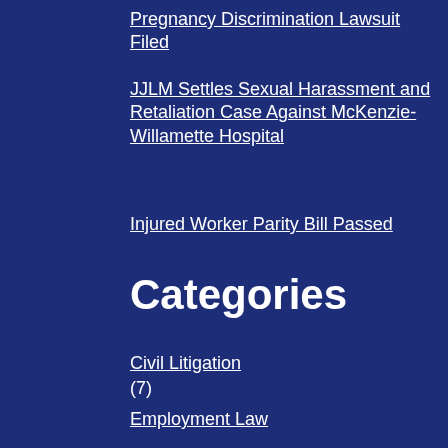Pregnancy Discrimination Lawsuit Filed
JJLM Settles Sexual Harassment and Retaliation Case Against McKenzie-Willamette Hospital
Injured Worker Parity Bill Passed
Categories
Civil Litigation
(7)
Employment Law
(22)
Firm News
(37)
Medical Malpractice